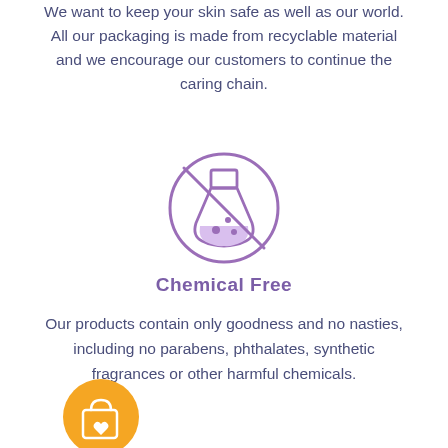We want to keep your skin safe as well as our world. All our packaging is made from recyclable material and we encourage our customers to continue the caring chain.
[Figure (illustration): A circular icon with a purple outline showing a chemistry flask/beaker with a crossed-out prohibition line through it, indicating chemical-free.]
Chemical Free
Our products contain only goodness and no nasties, including no parabens, phthalates, synthetic fragrances or other harmful chemicals.
[Figure (illustration): A golden/yellow circular icon with a white shopping bag with a heart on it.]